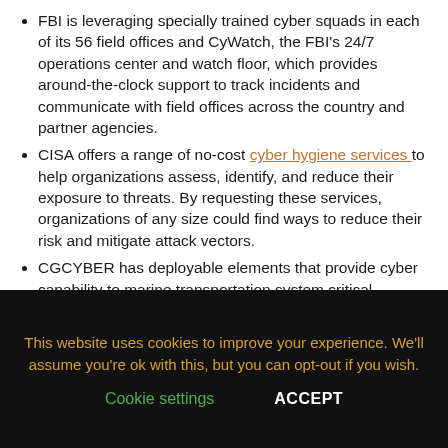FBI is leveraging specially trained cyber squads in each of its 56 field offices and CyWatch, the FBI's 24/7 operations center and watch floor, which provides around-the-clock support to track incidents and communicate with field offices across the country and partner agencies.
CISA offers a range of no-cost cyber hygiene services to help organizations assess, identify, and reduce their exposure to threats. By requesting these services, organizations of any size could find ways to reduce their risk and mitigate attack vectors.
CGCYBER has deployable elements that provide cyber capability to marine transportation system critical infrastructure in proactive defense or response to incidents.
This website uses cookies to improve your experience. We'll assume you're ok with this, but you can opt-out if you wish.
Cookie settings   ACCEPT